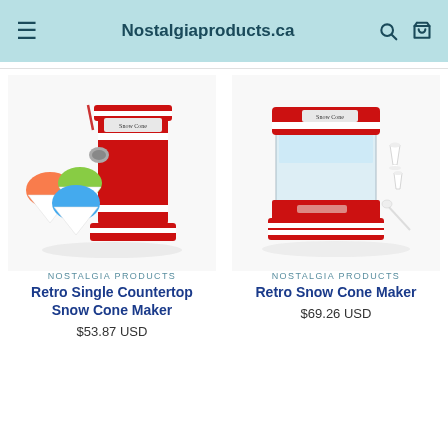Nostalgiaproducts.ca
[Figure (photo): Retro red single countertop snow cone maker with colorful snow cones in front]
NOSTALGIA PRODUCTS
Retro Single Countertop Snow Cone Maker
$53.87 USD
[Figure (photo): Retro red snow cone maker with clear hopper and white cups and spoon]
NOSTALGIA PRODUCTS
Retro Snow Cone Maker
$69.26 USD